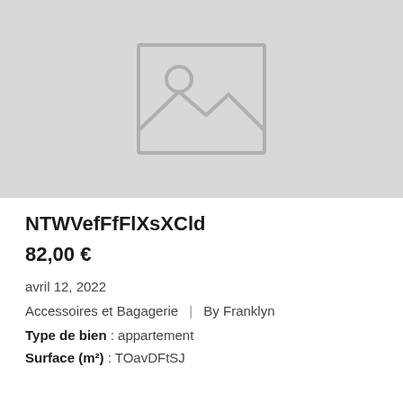[Figure (photo): Image placeholder with a generic image icon (mountain and sun) on a light grey background]
NTWVefFfFlXsXCld
82,00 €
avril 12, 2022
Accessoires et Bagagerie | By Franklyn
Type de bien : appartement
Surface (m²) : TOavDFtSJ